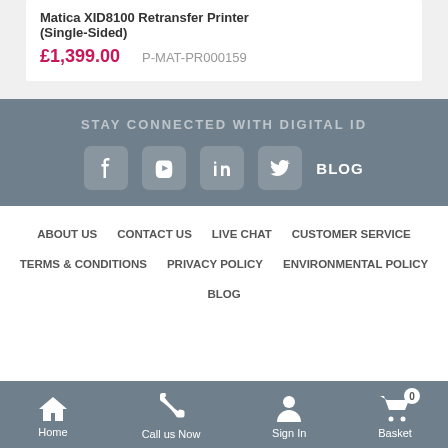Matica XID8100 Retransfer Printer (Single-Sided)
£1,399.00  P-MAT-PR000159
STAY CONNECTED WITH DIGITAL ID
[Figure (infographic): Social media icons: Facebook, YouTube, LinkedIn, Twitter, and BLOG label]
ABOUT US  CONTACT US  LIVE CHAT  CUSTOMER SERVICE
TERMS & CONDITIONS  PRIVACY POLICY  ENVIRONMENTAL POLICY
BLOG
Home  Call us Now  Sign In  Basket 0